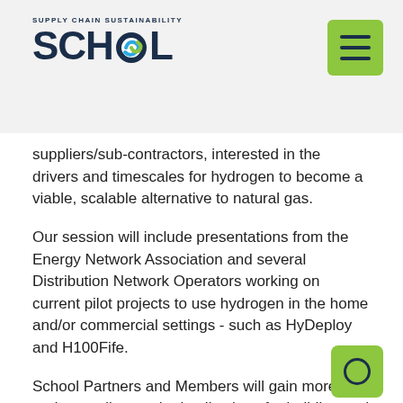SUPPLY CHAIN SUSTAINABILITY SCHOOL
suppliers/sub-contractors, interested in the drivers and timescales for hydrogen to become a viable, scalable alternative to natural gas.
Our session will include presentations from the Energy Network Association and several Distribution Network Operators working on current pilot projects to use hydrogen in the home and/or commercial settings - such as HyDeploy and H100Fife.
School Partners and Members will gain more understanding on the implications for building and construction supply chains as the transition to hydrogen takes place.
Speakers / presenters will be managers and engineers from organisations leading gas transmission and